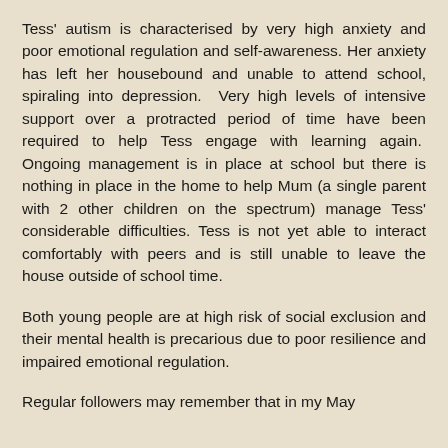Tess' autism is characterised by very high anxiety and poor emotional regulation and self-awareness. Her anxiety has left her housebound and unable to attend school, spiraling into depression. Very high levels of intensive support over a protracted period of time have been required to help Tess engage with learning again. Ongoing management is in place at school but there is nothing in place in the home to help Mum (a single parent with 2 other children on the spectrum) manage Tess' considerable difficulties. Tess is not yet able to interact comfortably with peers and is still unable to leave the house outside of school time.
Both young people are at high risk of social exclusion and their mental health is precarious due to poor resilience and impaired emotional regulation.
Regular followers may remember that in my May